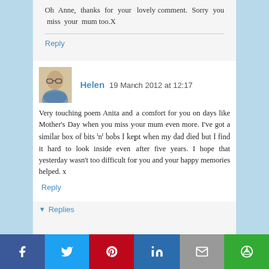Oh Anne, thanks for your lovely comment. Sorry you miss your mum too.X
Reply
Helen  19 March 2012 at 12:17
Very touching poem Anita and a comfort for you on days like Mother's Day when you miss your mum even more. I've got a similar box of bits 'n' bobs I kept when my dad died but I find it hard to look inside even after five years. I hope that yesterday wasn't too difficult for you and your happy memories helped. x
Reply
▾ Replies